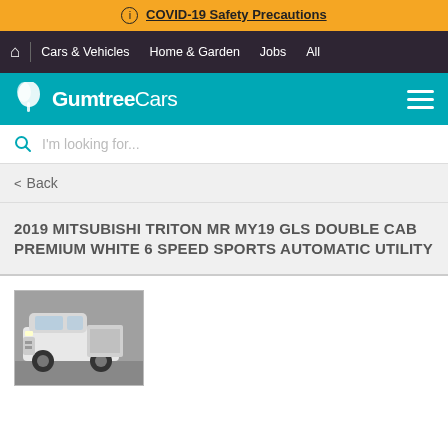ⓘ COVID-19 Safety Precautions
Cars & Vehicles   Home & Garden   Jobs   All
GumtreeCars
I'm looking for...
< Back
2019 MITSUBISHI TRITON MR MY19 GLS DOUBLE CAB PREMIUM WHITE 6 SPEED SPORTS AUTOMATIC UTILITY
[Figure (photo): White 2019 Mitsubishi Triton MR MY19 GLS Double Cab utility vehicle photographed in a showroom/dealer lot, front three-quarter view.]